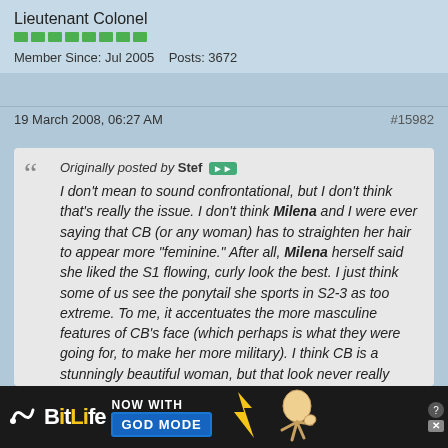Lieutenant Colonel
Member Since: Jul 2005   Posts: 3672
19 March 2008, 06:27 AM
#15982
Originally posted by Stef
I don't mean to sound confrontational, but I don't think that's really the issue. I don't think Milena and I were ever saying that CB (or any woman) has to straighten her hair to appear more "feminine." After all, Milena herself said she liked the S1 flowing, curly look the best. I just think some of us see the ponytail she sports in S2-3 as too extreme. To me, it accentuates the more masculine features of CB's face (which perhaps is what they were going for, to make her more military). I think CB is a stunningly beautiful woman, but that look never really showed that. For me, S4 was when I think Aeryn
[Figure (screenshot): BitLife advertisement banner - NOW WITH GOD MODE]